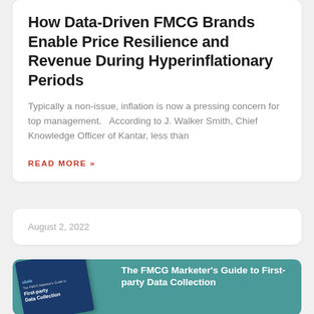How Data-Driven FMCG Brands Enable Price Resilience and Revenue During Hyperinflationary Periods
Typically a non-issue, inflation is now a pressing concern for top management.   According to J. Walker Smith, Chief Knowledge Officer of Kantar, less than
READ MORE »
August 2, 2022
[Figure (illustration): Book cover for 'The FMCG Marketer's Guide to First-party Data Collection' by Skale, shown angled on a teal background card alongside people]
The FMCG Marketer's Guide to First-party Data Collection